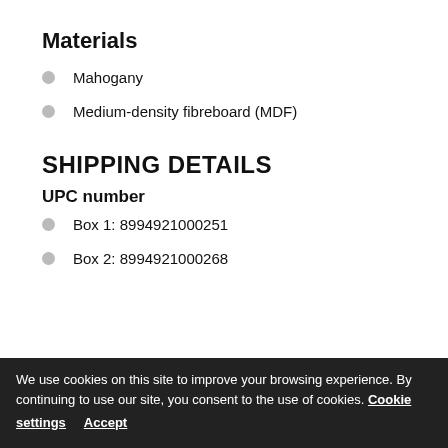Materials
Mahogany
Medium-density fibreboard (MDF)
SHIPPING DETAILS
UPC number
Box 1: 8994921000251
Box 2: 8994921000268
We use cookies on this site to improve your browsing experience. By continuing to use our site, you consent to the use of cookies. Cookie settings Accept